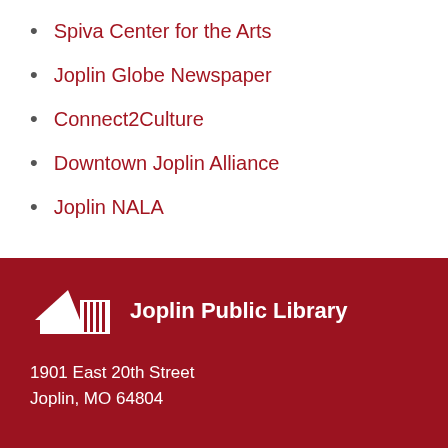Spiva Center for the Arts
Joplin Globe Newspaper
Connect2Culture
Downtown Joplin Alliance
Joplin NALA
[Figure (logo): Joplin Public Library logo — white building icon with triangular roof and vertical lines, on dark red background, with text 'Joplin Public Library']
1901 East 20th Street
Joplin, MO 64804